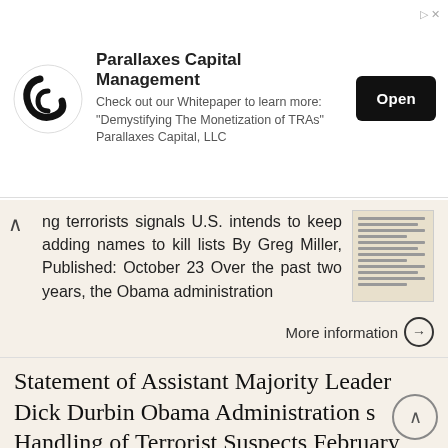[Figure (other): Advertisement banner for Parallaxes Capital Management with logo, text, and Open button]
ng terrorists signals U.S. intends to keep adding names to kill lists By Greg Miller, Published: October 23 Over the past two years, the Obama administration
More information →
Statement of Assistant Majority Leader Dick Durbin Obama Administration s Handling of Terrorist Suspects February 24,
Statement of Assistant Majority Leader Dick Durbin Obama Administration s Handling of Terrorist Suspects February 24, 2010 Mr. President, in recent weeks, my Republican colleagues have directed a barrage